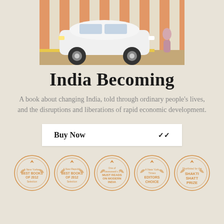[Figure (photo): Photo of a white vintage Ambassador car parked in front of an orange and white striped background with a person visible on the right side]
India Becoming
A book about changing India, told through ordinary people's lives, and the disruptions and liberations of rapid economic development.
Buy Now
[Figure (infographic): Five award badges in orange/gold: A New Yorker BEST BOOKS OF 2012 Selection; A New Republic BEST BOOKS OF 2012 Selection; One of Newsweek's 3 MUST READS ON MODERN INDIA; A New York Times EDITORS CHOICE; Shortlisted for the SHAKTI SHATT PRIZE]